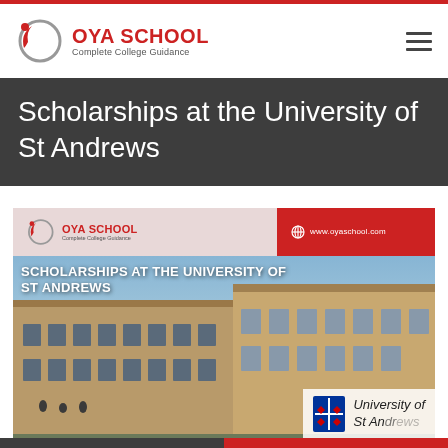OYA SCHOOL — Complete College Guidance
Scholarships at the University of St Andrews
[Figure (screenshot): Promotional banner image showing OYA School logo header with red accent, overlaid on a photo of the University of St Andrews stone building facade. Text overlay reads: SCHOLARSHIPS AT THE UNIVERSITY OF ST ANDREWS. University of St Andrews crest/logo visible bottom right. Website URL www.oyaschool.com shown in red header strip.]